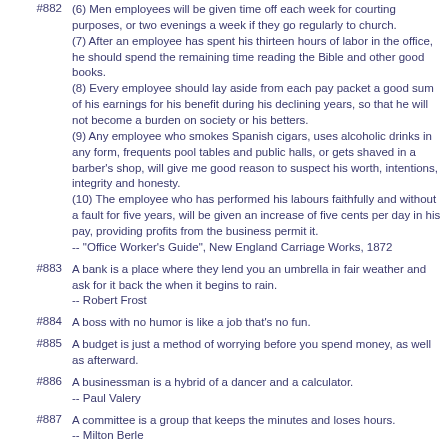(6) Men employees will be given time off each week for courting purposes, or two evenings a week if they go regularly to church.
(7) After an employee has spent his thirteen hours of labor in the office, he should spend the remaining time reading the Bible and other good books.
(8) Every employee should lay aside from each pay packet a good sum of his earnings for his benefit during his declining years, so that he will not become a burden on society or his betters.
(9) Any employee who smokes Spanish cigars, uses alcoholic drinks in any form, frequents pool tables and public halls, or gets shaved in a barber's shop, will give me good reason to suspect his worth, intentions, integrity and honesty.
(10) The employee who has performed his labours faithfully and without a fault for five years, will be given an increase of five cents per day in his pay, providing profits from the business permit it.
-- "Office Worker's Guide", New England Carriage Works, 1872
A bank is a place where they lend you an umbrella in fair weather and ask for it back the when it begins to rain.
-- Robert Frost
A boss with no humor is like a job that's no fun.
A budget is just a method of worrying before you spend money, as well as afterward.
A businessman is a hybrid of a dancer and a calculator.
-- Paul Valery
A committee is a group that keeps the minutes and loses hours.
-- Milton Berle